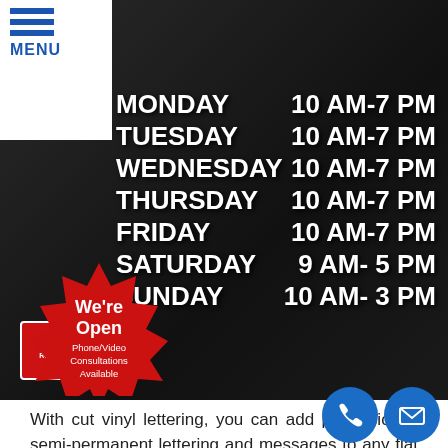MENU
[Figure (photo): Store window with vinyl lettering showing business hours: Monday (partially visible), Tuesday 10 AM-7 PM, Wednesday 10 AM-7 PM, Thursday 10 AM-7 PM, Friday 10 AM-7 PM, Saturday 9 AM-5 PM, Sunday 10 AM-3 PM]
With cut vinyl lettering, you can add professional, semi-permanent lettering and messages to any flat surface!
These attractive vinyl letters can be perfectly designed to match your brand fonts, colors, and messaging. Whether you want an attractive way to promote your hours of operation, provide intuitive navigation information, or even add your DOT license information to your semi-truck, we quality, durable, and branded solutions that work
ttering is professional and affordable, ng you to display long-term messaging in adhesive eye-
[Figure (infographic): Red starburst badge reading 'We're Open Phone/Video Consultations Available']
[Figure (infographic): Blue circle phone icon and blue circle email/envelope icon]